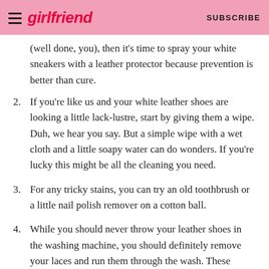girlfriend | SUBSCRIBE
(well done, you), then it's time to spray your white sneakers with a leather protector because prevention is better than cure.
2. If you're like us and your white leather shoes are looking a little lack-lustre, start by giving them a wipe. Duh, we hear you say. But a simple wipe with a wet cloth and a little soapy water can do wonders. If you're lucky this might be all the cleaning you need.
3. For any tricky stains, you can try an old toothbrush or a little nail polish remover on a cotton ball.
4. While you should never throw your leather shoes in the washing machine, you should definitely remove your laces and run them through the wash. These